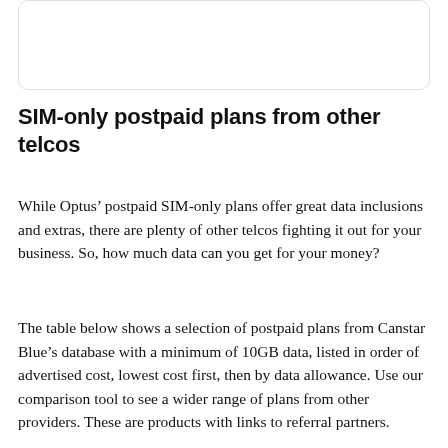[Figure (other): White rounded rectangle card with border, partially visible at top of page]
SIM-only postpaid plans from other telcos
While Optus’ postpaid SIM-only plans offer great data inclusions and extras, there are plenty of other telcos fighting it out for your business. So, how much data can you get for your money?
The table below shows a selection of postpaid plans from Canstar Blue’s database with a minimum of 10GB data, listed in order of advertised cost, lowest cost first, then by data allowance. Use our comparison tool to see a wider range of plans from other providers. These are products with links to referral partners.